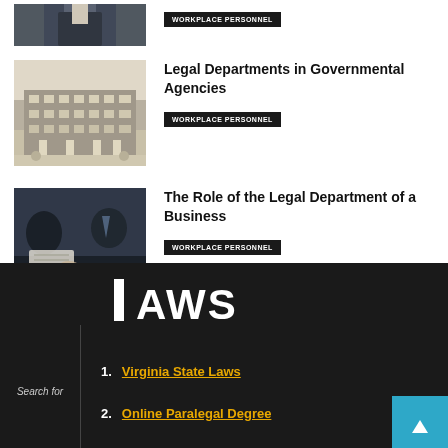[Figure (photo): Partial view of person in suit, cropped at top of page]
WORKPLACE PERSONNEL
[Figure (photo): Government building facade with columns and plaza]
Legal Departments in Governmental Agencies
WORKPLACE PERSONNEL
[Figure (photo): Business people at meeting table reviewing documents]
The Role of the Legal Department of a Business
WORKPLACE PERSONNEL
[Figure (logo): Laws.com partial logo - vertical bar with LAWS text]
Search for
Virginia State Laws
Online Paralegal Degree